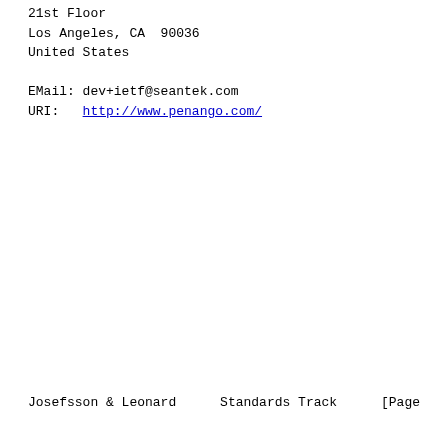21st Floor
Los Angeles, CA  90036
United States

EMail: dev+ietf@seantek.com
URI:   http://www.penango.com/
Josefsson & Leonard          Standards Track                    [Page